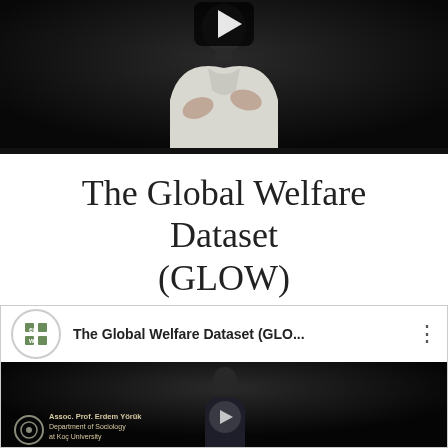[Figure (screenshot): Video player showing a man in a white shirt speaking against a dark background, with a play button overlay at the top.]
The Global Welfare Dataset (GLOW)
[Figure (screenshot): YouTube video thumbnail showing 'The Global Welfare Dataset (GLO...' with the ENWE channel logo, a play button, and Assoc. Prof. Erdem Yoruk, Department of Sociology at Koc University text overlay.]